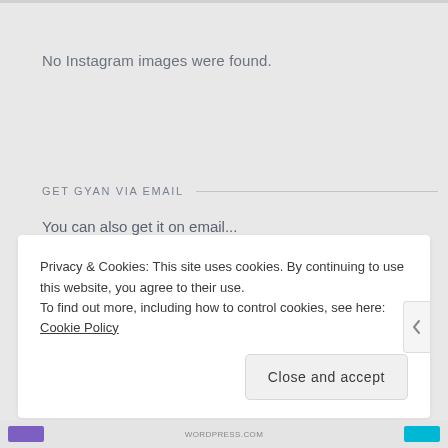No Instagram images were found.
GET GYAN VIA EMAIL
You can also get it on email...
Enter your email address
Privacy & Cookies: This site uses cookies. By continuing to use this website, you agree to their use.
To find out more, including how to control cookies, see here: Cookie Policy
Close and accept